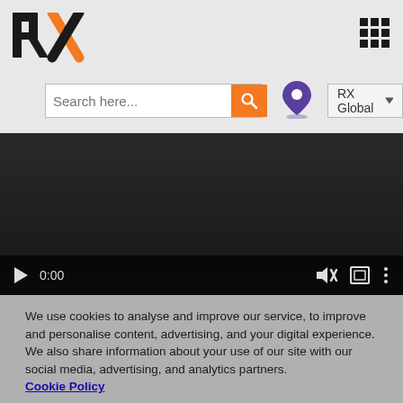[Figure (logo): RX logo with R and X letters, X in orange]
[Figure (other): 3x3 grid dots icon (menu) in top right]
[Figure (screenshot): Search bar with placeholder 'Search here...' and orange search button, location pin icon, RX Global dropdown]
[Figure (screenshot): Dark video player area showing 0:00 timestamp and video controls including play, mute, fullscreen and more options buttons]
We use cookies to analyse and improve our service, to improve and personalise content, advertising, and your digital experience. We also share information about your use of our site with our social media, advertising, and analytics partners.
Cookie Policy